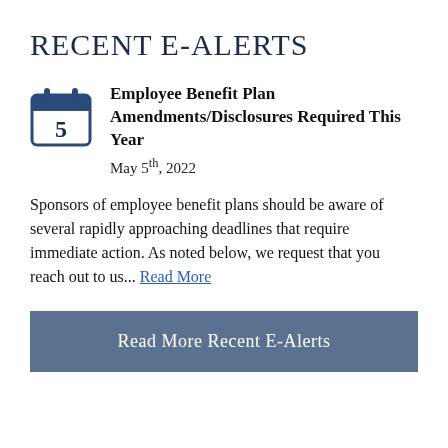RECENT E-ALERTS
Employee Benefit Plan Amendments/Disclosures Required This Year
May 5th, 2022
Sponsors of employee benefit plans should be aware of several rapidly approaching deadlines that require immediate action. As noted below, we request that you reach out to us... Read More
Read More Recent E-Alerts